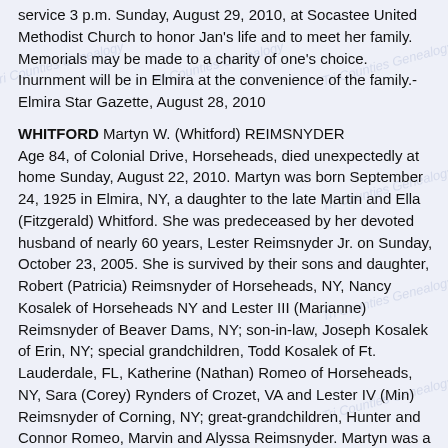service 3 p.m. Sunday, August 29, 2010, at Socastee United Methodist Church to honor Jan's life and to meet her family. Memorials may be made to a charity of one's choice. Inurnment will be in Elmira at the convenience of the family.- Elmira Star Gazette, August 28, 2010
WHITFORD Martyn W. (Whitford) REIMSNYDER Age 84, of Colonial Drive, Horseheads, died unexpectedly at home Sunday, August 22, 2010. Martyn was born September 24, 1925 in Elmira, NY, a daughter to the late Martin and Ella (Fitzgerald) Whitford. She was predeceased by her devoted husband of nearly 60 years, Lester Reimsnyder Jr. on Sunday, October 23, 2005. She is survived by their sons and daughter, Robert (Patricia) Reimsnyder of Horseheads, NY, Nancy Kosalek of Horseheads NY and Lester III (Marianne) Reimsnyder of Beaver Dams, NY; son-in-law, Joseph Kosalek of Erin, NY; special grandchildren, Todd Kosalek of Ft. Lauderdale, FL, Katherine (Nathan) Romeo of Horseheads, NY, Sara (Corey) Rynders of Crozet, VA and Lester IV (Min) Reimsnyder of Corning, NY; great-grandchildren, Hunter and Connor Romeo, Marvin and Alyssa Reimsnyder. Martyn was a communicant of St. Mary Our Mother Church in Horseheads and a devoted wife, mother, grandmother and great grandmother who always enjoyed time spent with family and friends. Martyn and her husband Les were founders of Rimco Plastics on Colonial Drive in Horseheads